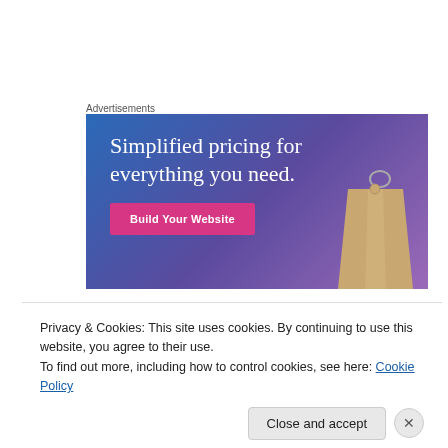Advertisements
[Figure (illustration): Advertisement banner with gradient blue-purple background. Large white serif text reads 'Simplified pricing for everything you need.' with a pink 'Build Your Website' button and a decorative price tag hanging on the right side.]
[Figure (photo): Green foliage/plant texture strip]
Privacy & Cookies: This site uses cookies. By continuing to use this website, you agree to their use.
To find out more, including how to control cookies, see here: Cookie Policy
Close and accept
Advertisements